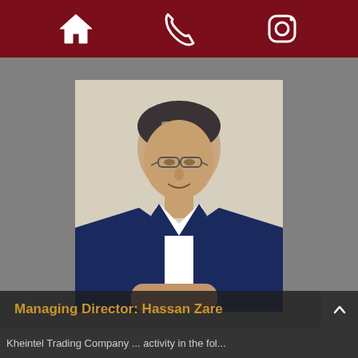[Home icon] [Phone icon] [Instagram icon]
[Figure (photo): Professional headshot of a middle-aged man with glasses, dark hair with grey streaks, wearing a navy blue blazer over a white dress shirt, seated against a cream/beige background.]
Managing Director: Hassan Zare
Kheintel Trading Company ... activity in the fol...